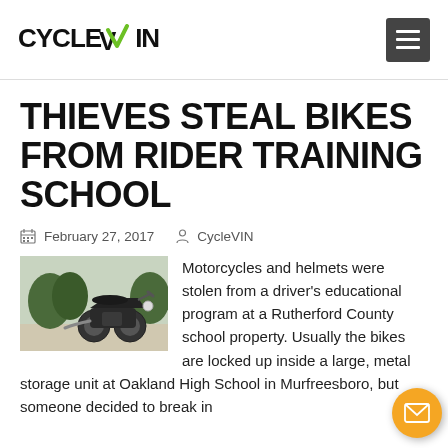CYCLEVIN
THIEVES STEAL BIKES FROM RIDER TRAINING SCHOOL
February 27, 2017  CycleVIN
[Figure (photo): A motorcycle parked outdoors, side view, dark colored cruiser style bike]
Motorcycles and helmets were stolen from a driver's educational program at a Rutherford County school property. Usually the bikes are locked up inside a large, metal storage unit at Oakland High School in Murfreesboro, but someone decided to break in